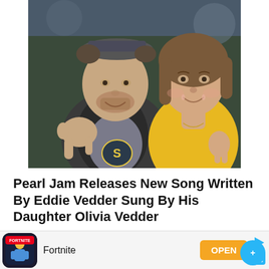[Figure (photo): A man wearing a baseball cap and a jacket with an 'S' logo on his shirt, making a hand gesture, next to a young woman in a yellow shirt, both smiling at the camera in what appears to be a sports venue.]
Pearl Jam Releases New Song Written By Eddie Vedder Sung By His Daughter Olivia Vedder
[Figure (photo): Small circular avatar thumbnail of an author]
[Figure (screenshot): Fortnite app advertisement banner with app icon, name 'Fortnite', and an orange OPEN button]